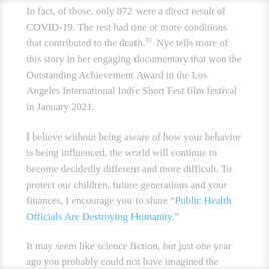In fact, of those, only 872 were a direct result of COVID-19. The rest had one or more conditions that contributed to the death.33 Nye tells more of this story in her engaging documentary that won the Outstanding Achievement Award in the Los Angeles International Indie Short Fest film festival in January 2021.
I believe without being aware of how your behavior is being influenced, the world will continue to become decidedly different and more difficult. To protect our children, future generations and your finances, I encourage you to share “Public Health Officials Are Destroying Humanity.”
It may seem like science fiction, but just one year ago you probably could not have imagined the world as it is today. Unless and until more people understand the direction that leadership is sending the world, it will only continue down the same path.